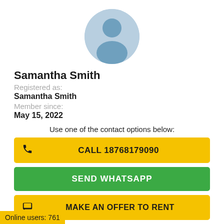[Figure (illustration): Circular default avatar profile picture with blue-grey silhouette of a person on a light blue background]
Samantha Smith
Registered as:
Samantha Smith
Member since:
May 15, 2022
Use one of the contact options below:
CALL 18768179090
SEND WHATSAPP
MAKE AN OFFER TO RENT
Online users: 761